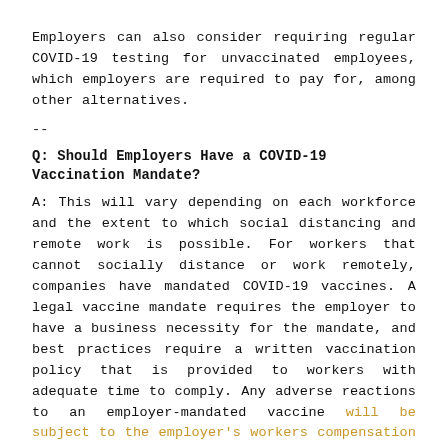Employers can also consider requiring regular COVID-19 testing for unvaccinated employees, which employers are required to pay for, among other alternatives.
--
Q: Should Employers Have a COVID-19 Vaccination Mandate?
A: This will vary depending on each workforce and the extent to which social distancing and remote work is possible. For workers that cannot socially distance or work remotely, companies have mandated COVID-19 vaccines. A legal vaccine mandate requires the employer to have a business necessity for the mandate, and best practices require a written vaccination policy that is provided to workers with adequate time to comply. Any adverse reactions to an employer-mandated vaccine will be subject to the employer's workers compensation insurance coverage.
Q: What Should a COVID-19 Vaccination Mandate Include?